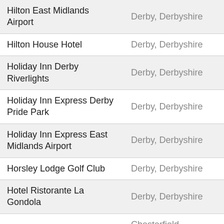| Venue | Location |
| --- | --- |
| Hilton East Midlands Airport | Derby, Derbyshire |
| Hilton House Hotel | Derby, Derbyshire |
| Holiday Inn Derby Riverlights | Derby, Derbyshire |
| Holiday Inn Express Derby Pride Park | Derby, Derbyshire |
| Holiday Inn Express East Midlands Airport | Derby, Derbyshire |
| Horsley Lodge Golf Club | Derby, Derbyshire |
| Hotel Ristorante La Gondola | Derby, Derbyshire |
| IA Academy | Chesterfield, Derbyshire |
| Ibis Chesterfield North | Barlborough, Derbyshire |
| Ibis Hotel | Chesterfield, Derbyshire |
| IGEM House Meetings & Conference Centre | Derby, Derbyshire |